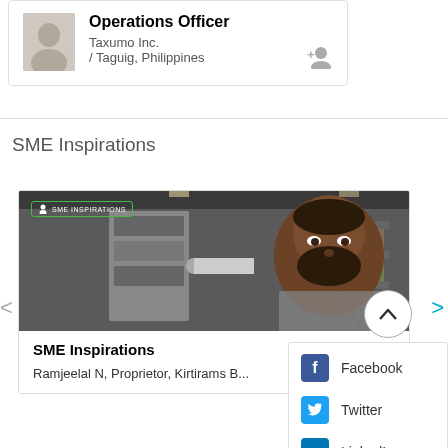Operations Officer
Taxumo Inc.
/ Taguig, Philippines
SME Inspirations
[Figure (photo): SME Inspirations card showing a bearded man in an industrial warehouse setting, with 'SME INSPIRATIONS' badge overlay]
SME Inspirations
Ramjeelal N, Proprietor, Kirtirams B...
Facebook
Twitter
LinkedIn